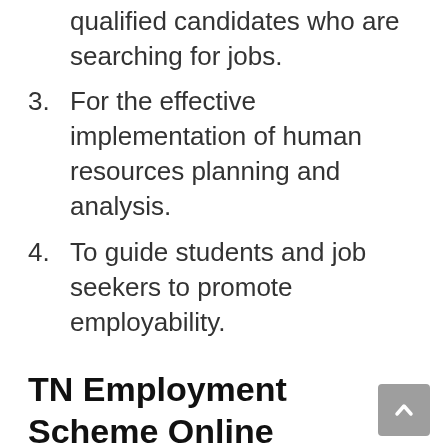qualified candidates who are searching for jobs.
3. For the effective implementation of human resources planning and analysis.
4. To guide students and job seekers to promote employability.
TN Employment Scheme Online Registration 2022: